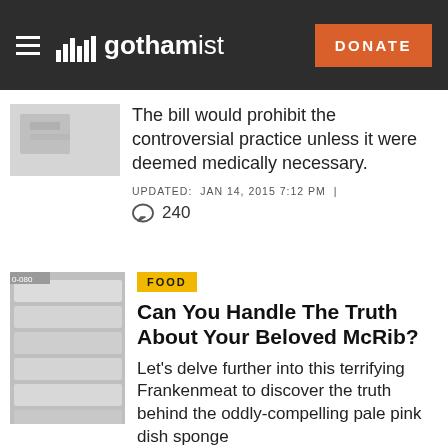gothamist — DONATE
The bill would prohibit the controversial practice unless it were deemed medically necessary.
UPDATED: JAN 14, 2015 7:12 PM | 240
FOOD
Can You Handle The Truth About Your Beloved McRib?
Let's delve further into this terrifying Frankenmeat to discover the truth behind the oddly-compelling pale pink dish sponge